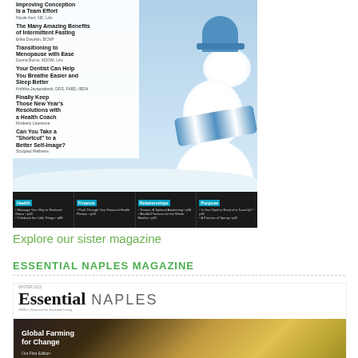[Figure (illustration): Magazine cover showing a snowman with blue hat and scarf on a snowy background, with article titles listed on the left side and a category navigation bar at the bottom. Articles include: Improving Conception Is a Team Effort, The Many Amazing Benefits of Intermittent Fasting, Transitioning to Menopause with Ease, Your Dentist Can Help You Breathe Easier and Sleep Better, Finally Keep Those New Year's Resolutions with a Health Coach, Can You Take a 'Shortcut' to a Better Self-Image?]
Explore our sister magazine
ESSENTIAL NAPLES MAGAZINE
[Figure (illustration): Bottom magazine preview showing the Essential NAPLES magazine cover with 'Global Farming for Change' article and colorful vegetables/bananas on dark background. Winter 2022 issue.]